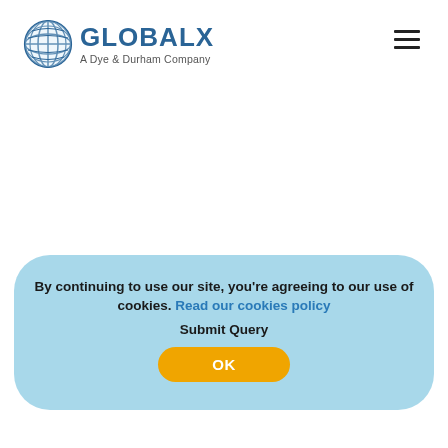[Figure (logo): GlobalX logo — blue globe icon with grid lines, bold blue 'GLOBALX' text, subtitle 'A Dye & Durham Company']
[Figure (other): Hamburger menu icon (three horizontal lines) in top right corner]
By continuing to use our site, you’re agreeing to our use of cookies. Read our cookies policy
Submit Query
OK